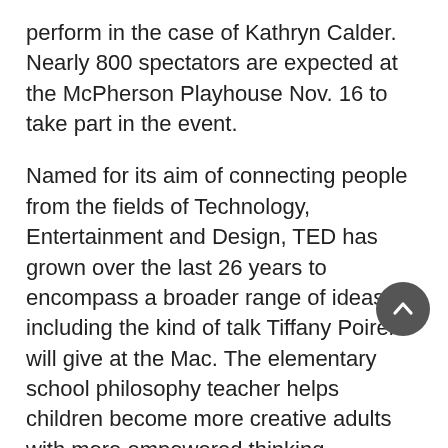perform in the case of Kathryn Calder. Nearly 800 spectators are expected at the McPherson Playhouse Nov. 16 to take part in the event.
Named for its aim of connecting people from the fields of Technology, Entertainment and Design, TED has grown over the last 26 years to encompass a broader range of ideas, including the kind of talk Tiffany Poirer will give at the Mac. The elementary school philosophy teacher helps children become more creative adults with more empowered thinking – children who grow up and find their way into TED events.
“Why isn’t it that everyone emerges to create the whole – creating something stronger. Everyone has these great skills that they’re born with and if they get to speak, they can